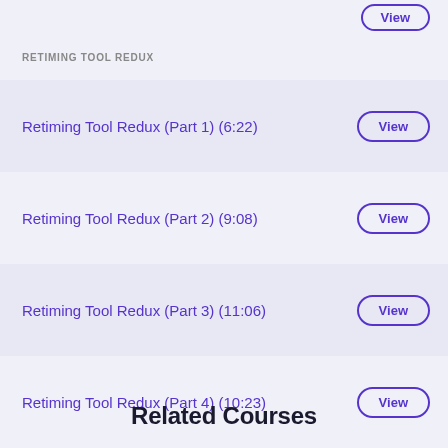RETIMING TOOL REDUX
Retiming Tool Redux (Part 1) (6:22)
Retiming Tool Redux (Part 2) (9:08)
Retiming Tool Redux (Part 3) (11:06)
Retiming Tool Redux (Part 4) (10:23)
Related Courses